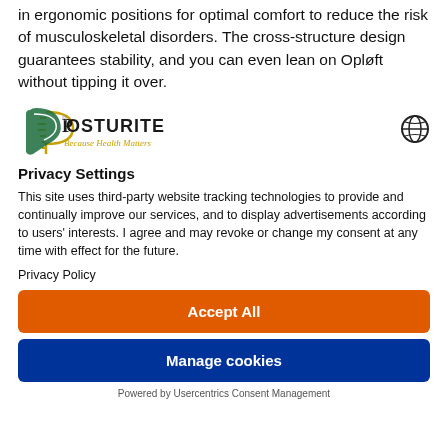in ergonomic positions for optimal comfort to reduce the risk of musculoskeletal disorders. The cross-structure design guarantees stability, and you can even lean on Opløft without tipping it over.
[Figure (logo): Posturite logo - green spine/P symbol with 'POSTURITE' text and tagline 'Because Health Matters']
[Figure (other): Globe/language selector icon]
Privacy Settings
This site uses third-party website tracking technologies to provide and continually improve our services, and to display advertisements according to users' interests. I agree and may revoke or change my consent at any time with effect for the future.
Privacy Policy
Accept All
Manage cookies
Powered by Usercentrics Consent Management